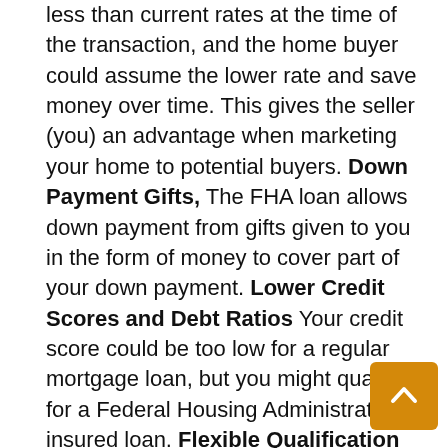less than current rates at the time of the transaction, and the home buyer could assume the lower rate and save money over time. This gives the seller (you) an advantage when marketing your home to potential buyers. Down Payment Gifts, The FHA loan allows down payment from gifts given to you in the form of money to cover part of your down payment. Lower Credit Scores and Debt Ratios Your credit score could be too low for a regular mortgage loan, but you might qualify for a Federal Housing Administration insured loan. Flexible Qualification Guidelines The qualification criteria used for FHA loans are less stringent than those of conventional loans due to government backing. Cons: Mortgage insurance FHA loans require mortgage insurance premiums (MPI), which add to the long-term cost of the loan and can increase your monthly payments. Loan limit There is a cap on the FHA loan amount you can receive, and the maximum amount varies based upon your location